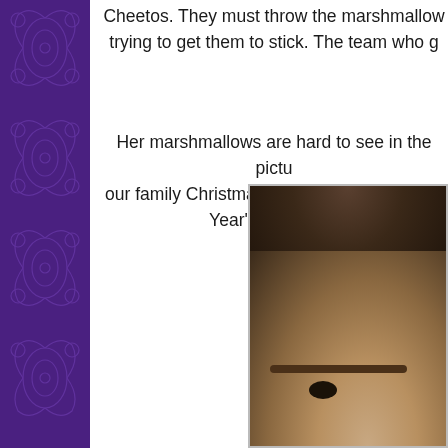Cheetos.  They must throw the marshmallows trying to get them to stick.  The team who g…
Her marshmallows are hard to see in the pict… our family Christmas party.  We called it San… Year's Eve party,
[Figure (photo): Partial photo of a person's face — forehead, eyebrows, and one eye visible, with dark hair pulled back, against a dark background.]